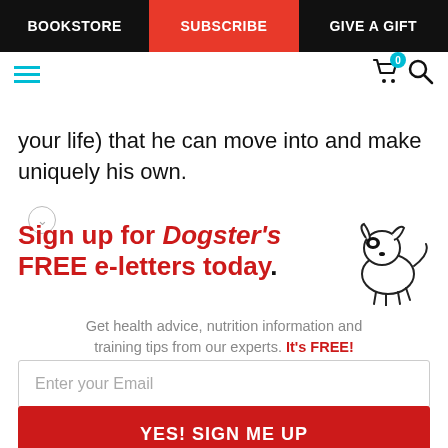BOOKSTORE | SUBSCRIBE | GIVE A GIFT
your life) that he can move into and make uniquely his own.
[Figure (infographic): Sign up for Dogster's FREE e-letters today. Illustration of a small cartoon dog. Get health advice, nutrition information and training tips from our experts. It's FREE!]
Enter your Email
YES! SIGN ME UP